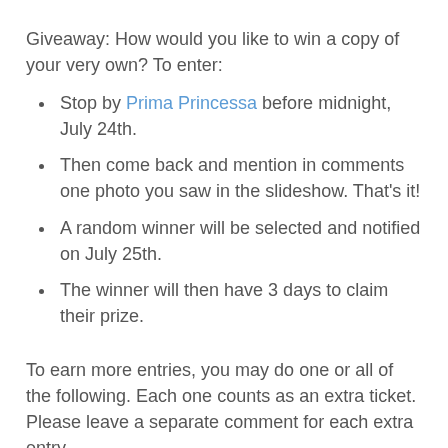Giveaway: How would you like to win a copy of your very own? To enter:
Stop by Prima Princessa before midnight, July 24th.
Then come back and mention in comments one photo you saw in the slideshow. That’s it!
A random winner will be selected and notified on July 25th.
The winner will then have 3 days to claim their prize.
To earn more entries, you may do one or all of the following. Each one counts as an extra ticket. Please leave a separate comment for each extra entry.
Subscribe to my feed.
Mention this giveaway on your blog with a link back here and to Prima Princessa.